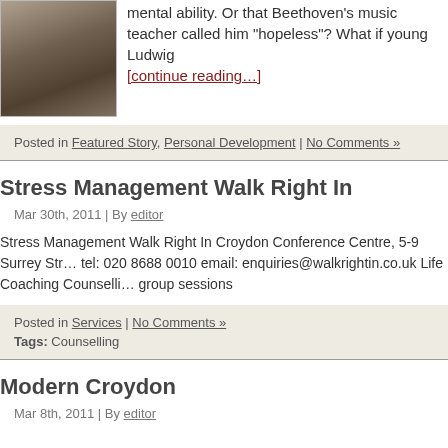[Figure (photo): Black and white portrait photo of a man in formal attire]
mental ability. Or that Beethoven's music teacher called him "hopeless"? What if young Ludwig [continue reading…]
Posted in Featured Story, Personal Development | No Comments »
Stress Management Walk Right In
Mar 30th, 2011 | By editor
Stress Management Walk Right In Croydon Conference Centre, 5-9 Surrey Str… tel: 020 8688 0010 email: enquiries@walkrightin.co.uk Life Coaching Counselli… group sessions
Posted in Services | No Comments »
Tags: Counselling
Modern Croydon
Mar 8th, 2011 | By editor